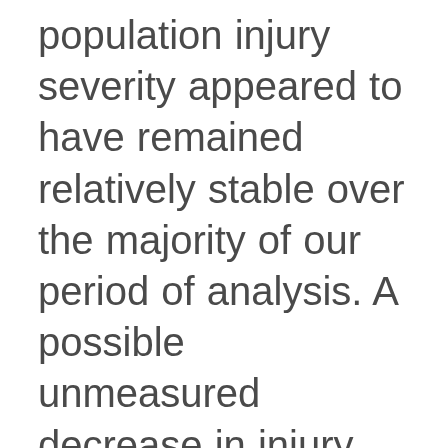population injury severity appeared to have remained relatively stable over the majority of our period of analysis. A possible unmeasured decrease in injury severity at presentation, due to factors such as improved pre-hospital care or change in safety rules/public awareness, may account for